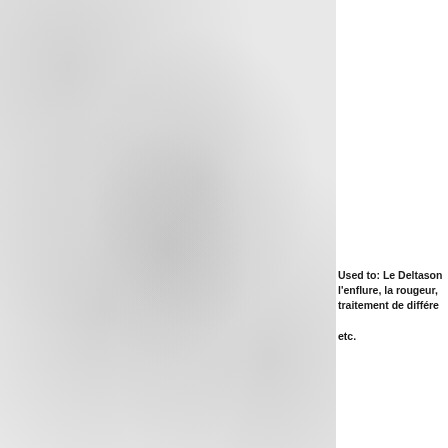Used to: Le Deltason... l'enflure, la rougeur,... traitement de différe... etc.